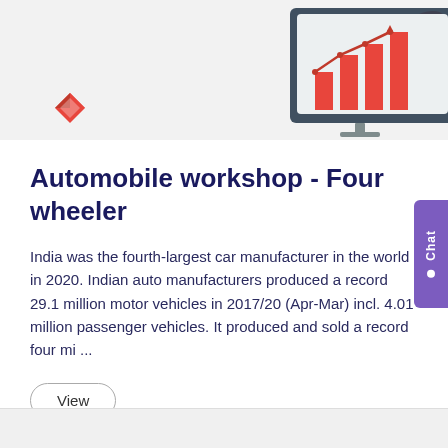[Figure (illustration): Banner illustration showing a person holding a bar chart/presentation with upward trending red bars and a line chart, with decorative leaves in the background. A red diamond/rhombus logo icon is visible in the lower left of the banner.]
Automobile workshop - Four wheeler
India was the fourth-largest car manufacturer in the world in 2020. Indian auto manufacturers produced a record 29.1 million motor vehicles in 2017/20 (Apr-Mar) incl. 4.01 million passenger vehicles. It produced and sold a record four mi ...
View